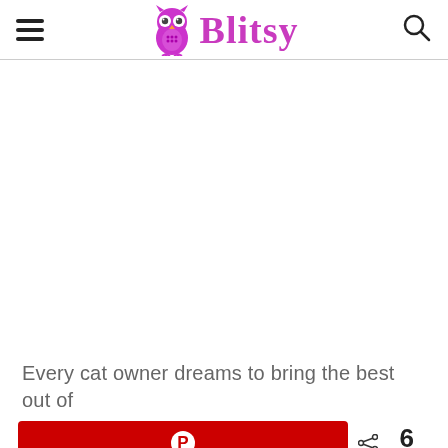Blitsy
[Figure (other): White blank content area representing an image placeholder]
Every cat owner dreams to bring the best out of
[Figure (other): Red Pinterest share button with Pinterest logo icon]
< 6 SHARES